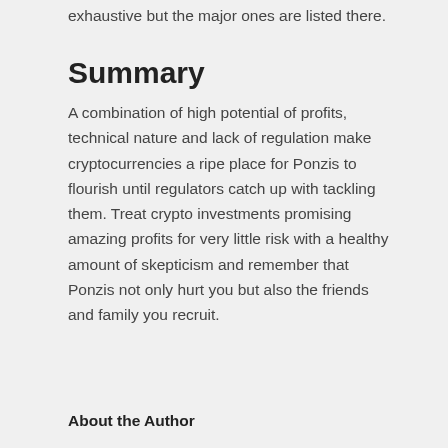exhaustive but the major ones are listed there.
Summary
A combination of high potential of profits, technical nature and lack of regulation make cryptocurrencies a ripe place for Ponzis to flourish until regulators catch up with tackling them. Treat crypto investments promising amazing profits for very little risk with a healthy amount of skepticism and remember that Ponzis not only hurt you but also the friends and family you recruit.
About the Author